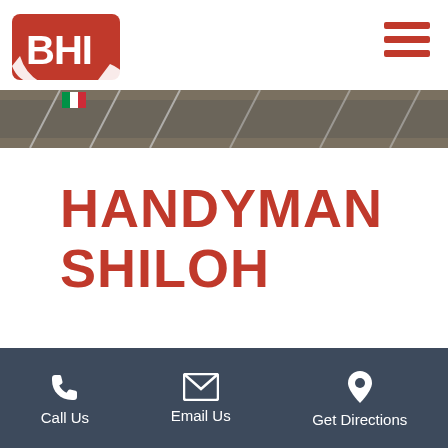[Figure (logo): BHI logo — red shield with white letters BHI and a swoosh]
[Figure (other): Hamburger menu icon — three horizontal red bars]
[Figure (photo): Partial hero image showing a dark asphalt/road surface with white markings and a small flag]
HANDYMAN SHILOH
Having a Handyman complete burdensome home repairs and maintenance needs will save time and
Call Us | Email Us | Get Directions